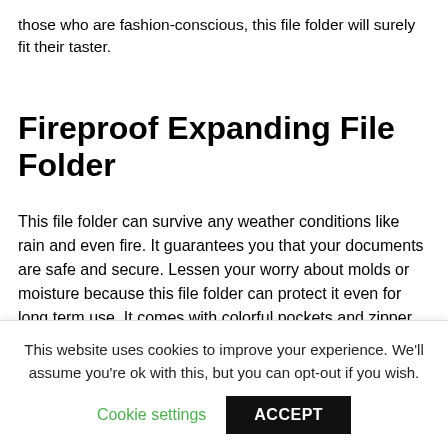those who are fashion-conscious, this file folder will surely fit their taster.
Fireproof Expanding File Folder
This file folder can survive any weather conditions like rain and even fire. It guarantees you that your documents are safe and secure. Lessen your worry about molds or moisture because this file folder can protect it even for long term use. It comes with colorful pockets and zipper closure. With its string, it is very convenient to carry and hang anywhere you like.
This website uses cookies to improve your experience. We'll assume you're ok with this, but you can opt-out if you wish.
Cookie settings
ACCEPT